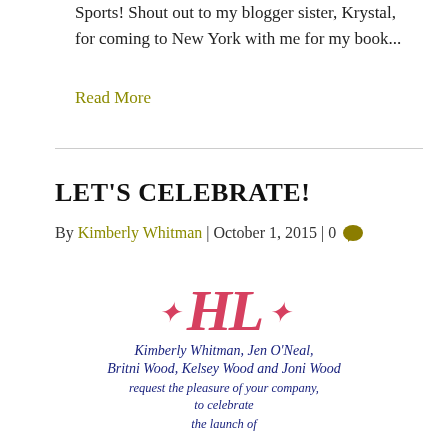Sports! Shout out to my blogger sister, Krystal, for coming to New York with me for my book...
Read More
LET'S CELEBRATE!
By Kimberly Whitman | October 1, 2015 | 0
[Figure (illustration): Decorative monogram letters HL in pink/red ornate style, followed by calligraphic script text reading: Kimberly Whitman, Jen O'Neal, Britni Wood, Kelsey Wood and Joni Wood request the pleasure of your company to celebrate the launch of]